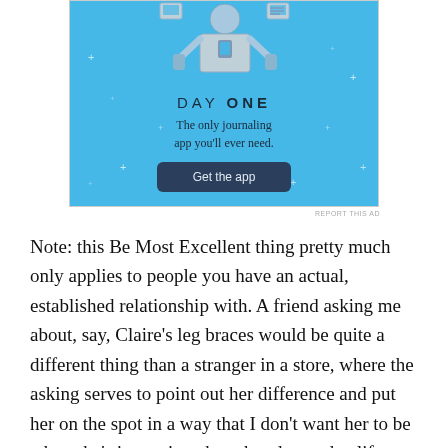[Figure (illustration): Day One journaling app advertisement. Light blue background with illustration of person holding a phone/device, surrounded by small plus/sparkle decorations. Shows brand name DAY ONE with tagline and Get the app button.]
REPORT THIS AD
Note: this Be Most Excellent thing pretty much only applies to people you have an actual, established relationship with. A friend asking me about, say, Claire's leg braces would be quite a different thing than a stranger in a store, where the asking serves to point out her difference and put her on the spot in a way that I don't want her to be when she's just going about her day to day life. But if you're close enough to come over with food or rock my newborn, I promise you are close enough